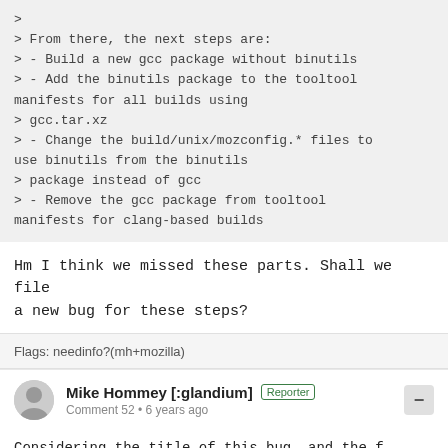>
> From there, the next steps are:
> - Build a new gcc package without binutils
> - Add the binutils package to the tooltool manifests for all builds using
> gcc.tar.xz
> - Change the build/unix/mozconfig.* files to use binutils from the binutils
> package instead of gcc
> - Remove the gcc package from tooltool manifests for clang-based builds
Hm I think we missed these parts. Shall we file a new bug for these steps?
Flags: needinfo?(mh+mozilla)
Mike Hommey [:glandium] Reporter
Comment 52 • 6 years ago
Considering the title of this bug, and the f...